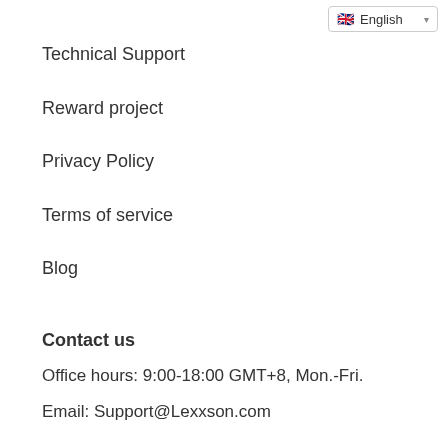🇬🇧 English
Technical Support
Reward project
Privacy Policy
Terms of service
Blog
Contact us
Office hours: 9:00-18:00 GMT+8, Mon.-Fri.
Email: Support@Lexxson.com